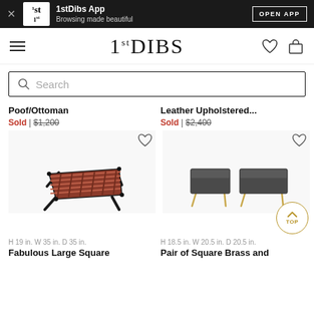1stDibs App – Browsing made beautiful – OPEN APP
[Figure (logo): 1stDibs logo navigation bar with hamburger menu, heart icon, and bag icon]
Search
Poof/Ottoman
Sold | $1,200
Leather Upholstered...
Sold | $2,400
[Figure (photo): Woven leather square ottoman/coffee table with black wooden legs]
[Figure (photo): Pair of square brass and dark upholstered ottomans with gold metal legs]
H 19 in. W 35 in. D 35 in.
H 18.5 in. W 20.5 in. D 20.5 in.
Fabulous Large Square
Pair of Square Brass and